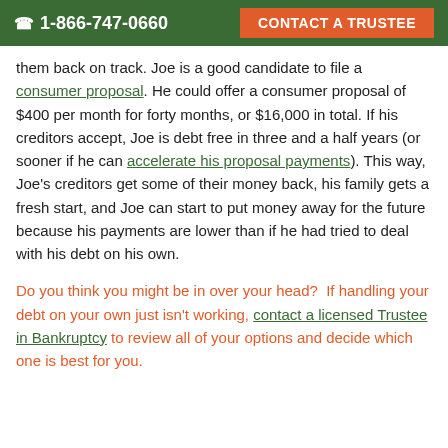☎ 1-866-747-0660   CONTACT A TRUSTEE
them back on track. Joe is a good candidate to file a consumer proposal. He could offer a consumer proposal of $400 per month for forty months, or $16,000 in total. If his creditors accept, Joe is debt free in three and a half years (or sooner if he can accelerate his proposal payments). This way, Joe's creditors get some of their money back, his family gets a fresh start, and Joe can start to put money away for the future because his payments are lower than if he had tried to deal with his debt on his own.
Do you think you might be in over your head?  If handling your debt on your own just isn't working, contact a licensed Trustee in Bankruptcy to review all of your options and decide which one is best for you.